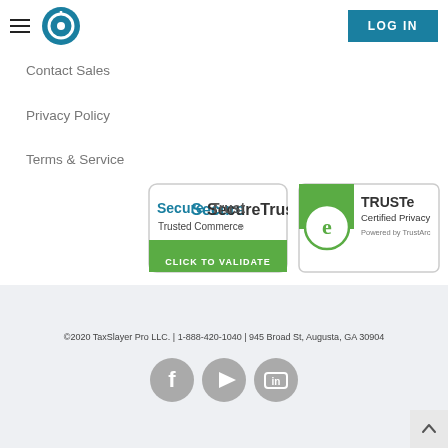TaxSlayer Pro logo and LOG IN button
Contact Sales
Privacy Policy
Terms & Service
[Figure (logo): SecureTrust Trusted Commerce - CLICK TO VALIDATE badge]
[Figure (logo): TRUSTe Certified Privacy Powered by TrustArc badge]
©2020 TaxSlayer Pro LLC. | 1-888-420-1040 | 945 Broad St, Augusta, GA 30904
[Figure (infographic): Social media icons: Facebook, Play/YouTube, LinkedIn]